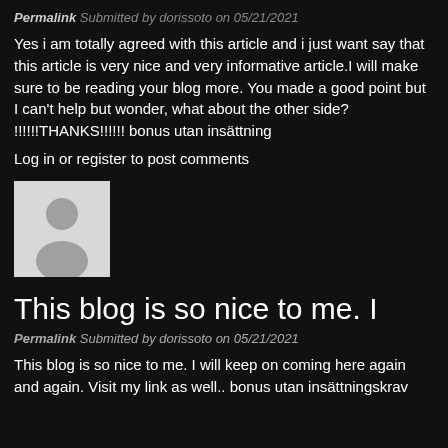Permalink Submitted by dorissoto on 05/21/2021
Yes i am totally agreed with this article and i just want say that this article is very nice and very informative article.I will make sure to be reading your blog more. You made a good point but I can't help but wonder, what about the other side? !!!!!!THANKS!!!!!! bonus utan insättning
Log in or register to post comments
[Figure (photo): Default user avatar silhouette on light grey background]
This blog is so nice to me. I
Permalink Submitted by dorissoto on 05/21/2021
This blog is so nice to me. I will keep on coming here again and again. Visit my link as well.. bonus utan insättningskrav